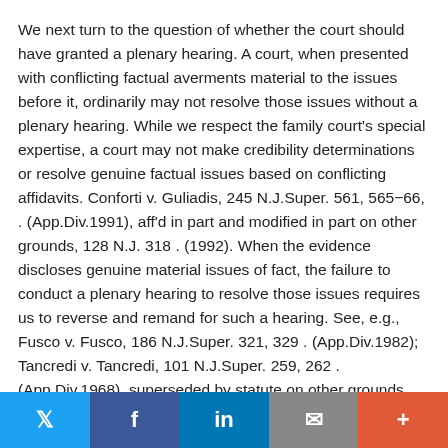We next turn to the question of whether the court should have granted a plenary hearing. A court, when presented with conflicting factual averments material to the issues before it, ordinarily may not resolve those issues without a plenary hearing. While we respect the family court's special expertise, a court may not make credibility determinations or resolve genuine factual issues based on conflicting affidavits. Conforti v. Guliadis, 245 N.J.Super. 561, 565−66, . (App.Div.1991), aff'd in part and modified in part on other grounds, 128 N.J. 318 . (1992). When the evidence discloses genuine material issues of fact, the failure to conduct a plenary hearing to resolve those issues requires us to reverse and remand for such a hearing. See, e.g., Fusco v. Fusco, 186 N.J.Super. 321, 329 . (App.Div.1982); Tancredi v. Tancredi, 101 N.J.Super. 259, 262 . (App.Div.1968), superseded by statute on other grounds, N.J.S.A. 2A:17
Twitter | Facebook | LinkedIn | Email | +